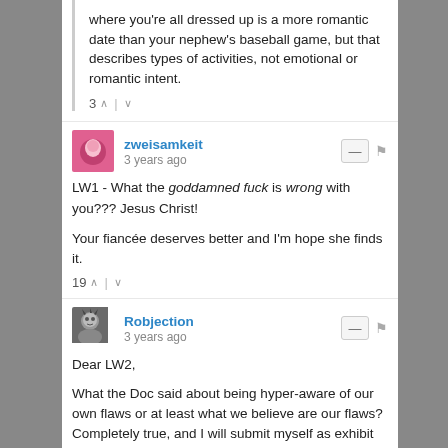where you're all dressed up is a more romantic date than your nephew's baseball game, but that describes types of activities, not emotional or romantic intent.
3 ^ | v
zweisamkeit
3 years ago
LW1 - What the goddamned fuck is wrong with you??? Jesus Christ!

Your fiancée deserves better and I'm hope she finds it.
19 ^ | v
Robjection
3 years ago
Dear LW2,

What the Doc said about being hyper-aware of our own flaws or at least what we believe are our flaws? Completely true, and I will submit myself as exhibit A. Specifically, my hands, which have two settings: either